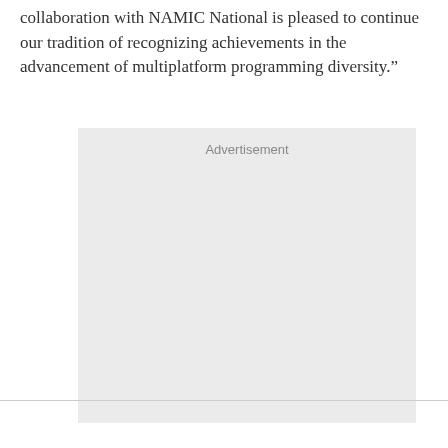collaboration with NAMIC National is pleased to continue our tradition of recognizing achievements in the advancement of multiplatform programming diversity.”
[Figure (other): Advertisement placeholder box with light gray background and 'Advertisement' label at top center]